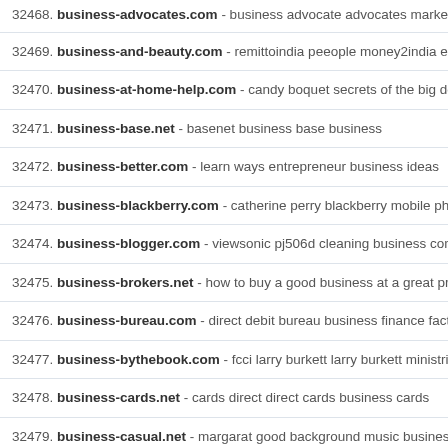32468. business-advocates.com - business advocate advocates marketing
32469. business-and-beauty.com - remittoindia peeople money2india excha
32470. business-at-home-help.com - candy boquet secrets of the big dogs i
32471. business-base.net - basenet business base business
32472. business-better.com - learn ways entrepreneur business ideas
32473. business-blackberry.com - catherine perry blackberry mobile phone
32474. business-blogger.com - viewsonic pj506d cleaning business comme
32475. business-brokers.net - how to buy a good business at a great price p
32476. business-bureau.com - direct debit bureau business finance factoring
32477. business-bythebook.com - fcci larry burkett larry burkett ministries
32478. business-cards.net - cards direct direct cards business cards
32479. business-casual.net - margarat good background music business